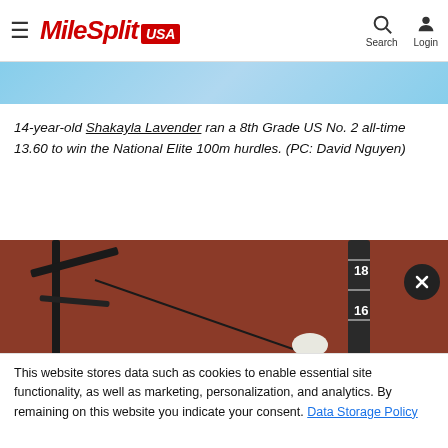MileSplit USA — Search, Login
[Figure (photo): Top portion of athletic track photo (blue track surface visible)]
14-year-old Shakayla Lavender ran a 8th Grade US No. 2 all-time 13.60 to win the National Elite 100m hurdles. (PC: David Nguyen)
[Figure (photo): Photo of pole vault equipment against a reddish-brown background with a measurement pole showing numbers 16 and 18]
This website stores data such as cookies to enable essential site functionality, as well as marketing, personalization, and analytics. By remaining on this website you indicate your consent. Data Storage Policy